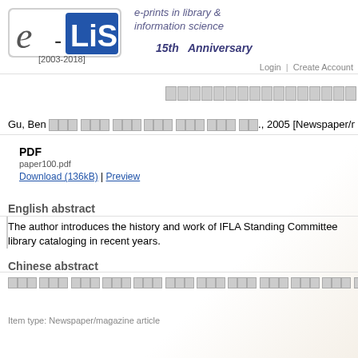[Figure (logo): e-LiS logo with text 'e-prints in library & information science' and '15th Anniversary [2003-2018]']
Login | Create Account
[search boxes]
Gu, Ben [Chinese characters]., 2005 [Newspaper/magazine article]
PDF
paper100.pdf
Download (136kB) | Preview
English abstract
The author introduces the history and work of IFLA Standing Committee library cataloging in recent years.
Chinese abstract
[Chinese characters]
Item type: Newspaper/magazine article